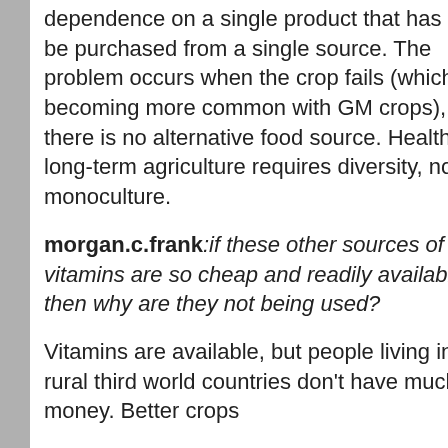dependence on a single product that has to be purchased from a single source. The problem occurs when the crop fails (which is becoming more common with GM crops), there is no alternative food source. Healthy, long-term agriculture requires diversity, not monoculture.
morgan.c.frank: if these other sources of vitamins are so cheap and readily available, then why are they not being used?
Vitamins are available, but people living in rural third world countries don't have much money. Better crops